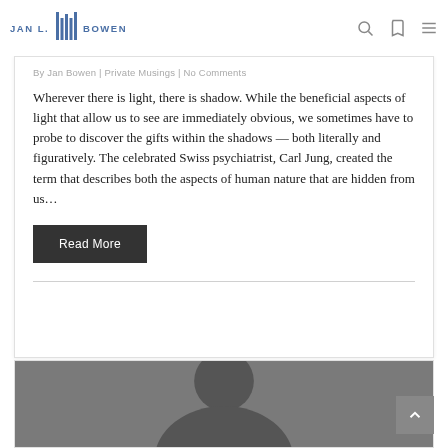JAN L. BOWEN
Revealing the Gift Within Your Shadow
By Jan Bowen | Private Musings | No Comments
Wherever there is light, there is shadow. While the beneficial aspects of light that allow us to see are immediately obvious, we sometimes have to probe to discover the gifts within the shadows — both literally and figuratively. The celebrated Swiss psychiatrist, Carl Jung, created the term that describes both the aspects of human nature that are hidden from us…
Read More
[Figure (photo): Partial view of a person's face or portrait image at the bottom of the page]